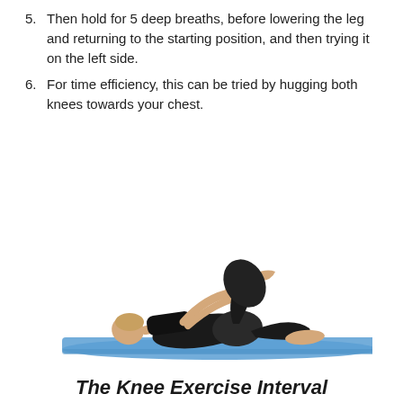5. Then hold for 5 deep breaths, before lowering the leg and returning to the starting position, and then trying it on the left side.
6. For time efficiency, this can be tried by hugging both knees towards your chest.
[Figure (photo): A woman lying on a blue yoga mat on her back, hugging both knees towards her chest in a knee-to-chest stretch exercise pose, wearing black workout clothes.]
The Knee Exercise Interval